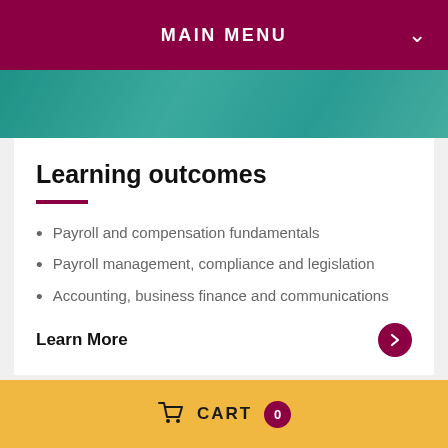MAIN MENU
[Figure (photo): Hero background image showing hands working, with teal/green color overlay]
Learning outcomes
Payroll and compensation fundamentals
Payroll management, compliance and legislation
Accounting, business finance and communications
Learn More
CART 0